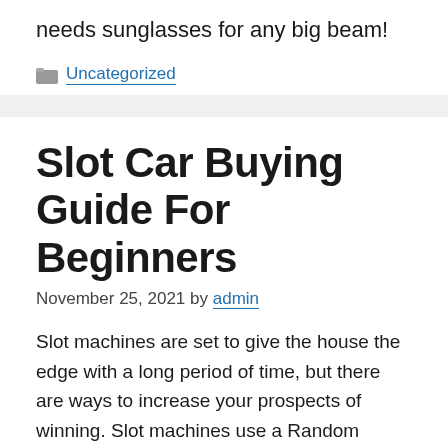needs sunglasses for any big beam!
Categories: Uncategorized
Slot Car Buying Guide For Beginners
November 25, 2021 by admin
Slot machines are set to give the house the edge with a long period of time, but there are ways to increase your prospects of winning. Slot machines use a Random Number Generator (RNG) that makes it